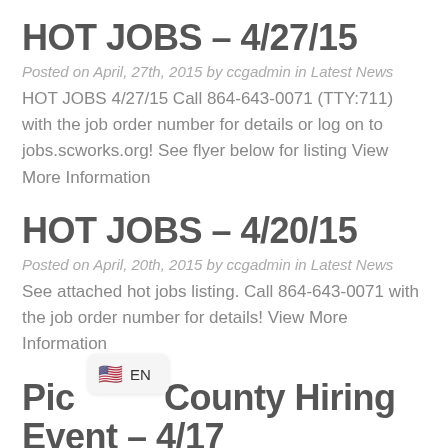HOT JOBS – 4/27/15
Posted on April, 27th, 2015 by ccgadmin in Latest News
HOT JOBS 4/27/15 Call 864-643-0071 (TTY:711) with the job order number for details or log on to jobs.scworks.org! See flyer below for listing View More Information
HOT JOBS – 4/20/15
Posted on April, 20th, 2015 by ccgadmin in Latest News
See attached hot jobs listing. Call 864-643-0071 with the job order number for details! View More Information
Pickens County Hiring Event – 4/17